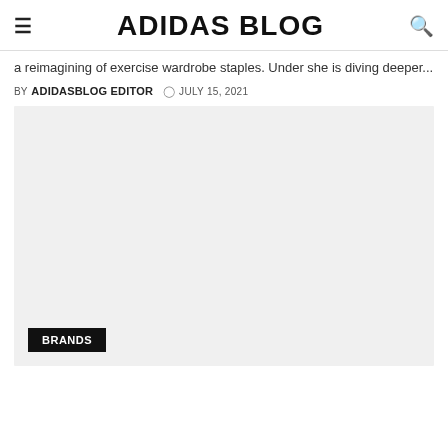ADIDAS BLOG
a reimagining of exercise wardrobe staples. Under she is diving deeper...
BY ADIDASBLOG EDITOR  ◷ JULY 15, 2021
[Figure (photo): Large image placeholder area with a light gray background]
BRANDS